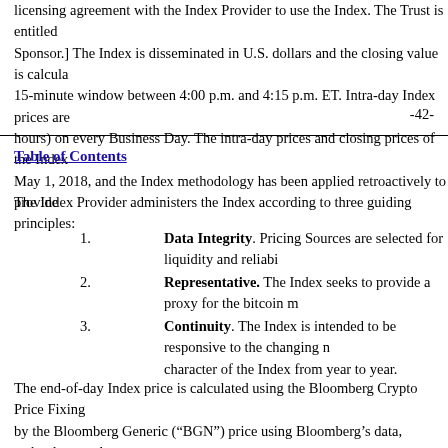licensing agreement with the Index Provider to use the Index. The Trust is entitled Sponsor.] The Index is disseminated in U.S. dollars and the closing value is calcula 15-minute window between 4:00 p.m. and 4:15 p.m. ET. Intra-day Index prices are hours) on every Business Day. The intra-day prices and closing prices of the Index May 1, 2018, and the Index methodology has been applied retroactively to provide
-42-
Table of Contents
The Index Provider administers the Index according to three guiding principles:
1. Data Integrity. Pricing Sources are selected for liquidity and reliabi
2. Representative. The Index seeks to provide a proxy for the bitcoin m
3. Continuity. The Index is intended to be responsive to the changing n character of the Index from year to year.
The end-of-day Index price is calculated using the Bloomberg Crypto Price Fixing by the Bloomberg Generic (“BGN”) price using Bloomberg’s data, technology and investment community with the objective of providing cryptocurrency fixings that
BGN prices are designed to track executable bid and ask quotes from Pricing Sour themselves, and the Pricing Sources change from time-to-time depending on the qu score based on numerous factors, including update frequency and spike frequency. rather, price inputs include quotes from any market participant whose quotes are ex undertakes a periodic review of the appropriateness of specific data used in the ca